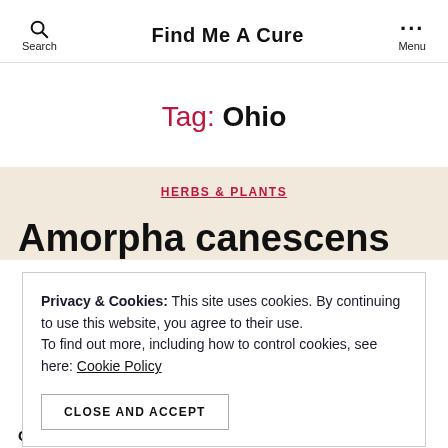Find Me A Cure
Tag: Ohio
HERBS & PLANTS
Amorpha canescens
Privacy & Cookies: This site uses cookies. By continuing to use this website, you agree to their use. To find out more, including how to control cookies, see here: Cookie Policy
CLOSE AND ACCEPT
Genus: Amorpha